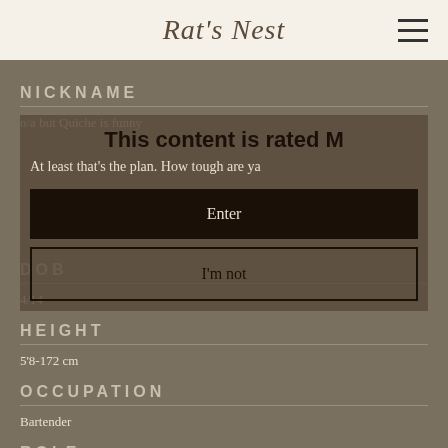Rat's Nest
This content is rated M
At least that's the plan. How tough are ya
NICKNAME
n/a but Quiche is funny
DOB
4/14
HEIGHT
5'8-172 cm
OCCUPATION
Bartender
ROLE